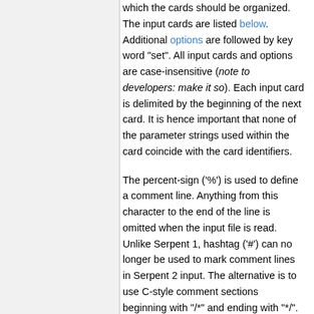which the cards should be organized. The input cards are listed below. Additional options are followed by key word "set". All input cards and options are case-insensitive (note to developers: make it so). Each input card is delimited by the beginning of the next card. It is hence important that none of the parameter strings used within the card coincide with the card identifiers.
The percent-sign ('%') is used to define a comment line. Anything from this character to the end of the line is omitted when the input file is read. Unlike Serpent 1, hashtag ('#') can no longer be used to mark comment lines in Serpent 2 input. The alternative is to use C-style comment sections beginning with "/*" and ending with "*/". Everything between these delimiters is omitted, regardless of